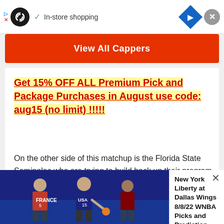[Figure (screenshot): Advertisement banner with infinity-loop icon and 'In-store shopping' text, navigation diamond icon, and close button]
View All Cappers
Get 15% OFF ALL Premium Pick and Package Purchases in August use code: aug15 (no limit) !!!!!
On the other side of this matchup is the Florida State Seminoles who are trying to build back up their program and there have been some growing pains so far. On the season Florida State has won only one game and in the last game against Notre Dame, they didn't look good giving up 42 points. On the season Florida State is averaging only 22.5 points per game while the defense is
[Figure (photo): Basketball players from France and USA teams playing 3-on-3 basketball]
New York Liberty at Dallas Wings 8/8/22 WNBA Picks and Prediction